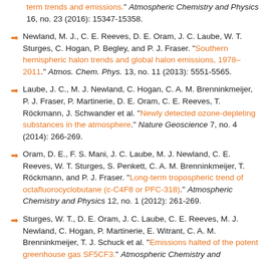term trends and emissions." Atmospheric Chemistry and Physics 16, no. 23 (2016): 15347-15358.
Newland, M. J., C. E. Reeves, D. E. Oram, J. C. Laube, W. T. Sturges, C. Hogan, P. Begley, and P. J. Fraser. "Southern hemispheric halon trends and global halon emissions, 1978–2011." Atmos. Chem. Phys. 13, no. 11 (2013): 5551-5565.
Laube, J. C., M. J. Newland, C. Hogan, C. A. M. Brenninkmeijer, P. J. Fraser, P. Martinerie, D. E. Oram, C. E. Reeves, T. Röckmann, J. Schwander et al. "Newly detected ozone-depleting substances in the atmosphere." Nature Geoscience 7, no. 4 (2014): 266-269.
Oram, D. E., F. S. Mani, J. C. Laube, M. J. Newland, C. E. Reeves, W. T. Sturges, S. Penkett, C. A. M. Brenninkmeijer, T. Röckmann, and P. J. Fraser. "Long-term tropospheric trend of octafluorocyclobutane (c-C4F8 or PFC-318)." Atmospheric Chemistry and Physics 12, no. 1 (2012): 261-269.
Sturges, W. T., D. E. Oram, J. C. Laube, C. E. Reeves, M. J. Newland, C. Hogan, P. Martinerie, E. Witrant, C. A. M. Brenninkmeijer, T. J. Schuck et al. "Emissions halted of the potent greenhouse gas SF5CF3." Atmospheric Chemistry and...